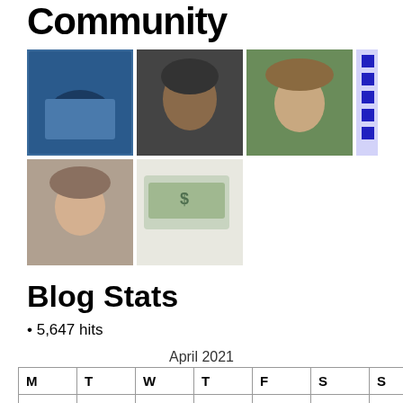Community
[Figure (photo): Grid of community member avatars/profile photos arranged in two rows]
Blog Stats
5,647 hits
| M | T | W | T | F | S | S |
| --- | --- | --- | --- | --- | --- | --- |
|  |  |  | 1 | 2 | 3 | 4 |
| 5 | 6 | 7 | 8 | 9 | 10 | 11 |
| 12 | 13 | 14 | 15 | 16 | 17 | 18 |